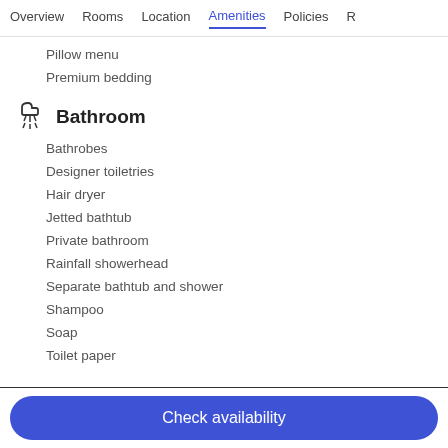Overview  Rooms  Location  Amenities  Policies  R
Pillow menu
Premium bedding
Bathroom
Bathrobes
Designer toiletries
Hair dryer
Jetted bathtub
Private bathroom
Rainfall showerhead
Separate bathtub and shower
Shampoo
Soap
Toilet paper
Check availability